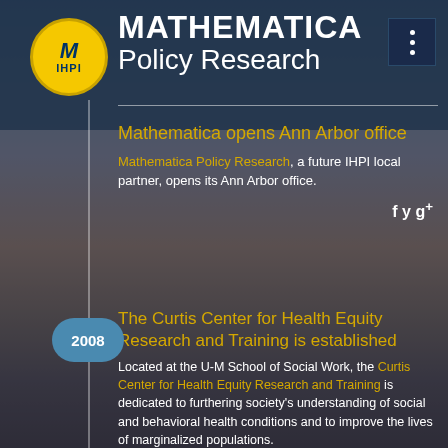[Figure (logo): IHPI circle logo with M and IHPI text in yellow on blue background]
MATHEMATICA Policy Research
[Figure (other): Three-dot menu icon in dark navy square top right]
Mathematica opens Ann Arbor office
Mathematica Policy Research, a future IHPI local partner, opens its Ann Arbor office.
f y g+
[Figure (other): 2008 year circle badge on timeline]
The Curtis Center for Health Equity Research and Training is established
Located at the U-M School of Social Work, the Curtis Center for Health Equity Research and Training is dedicated to furthering society's understanding of social and behavioral health conditions and to improve the lives of marginalized populations.
f y g+